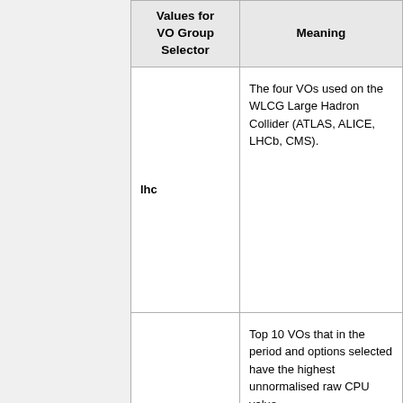| Values for VO Group Selector | Meaning |
| --- | --- |
| lhc | The four VOs used on the WLCG Large Hadron Collider (ATLAS, ALICE, LHCb, CMS). |
| top10 | Top 10 VOs that in the period and options selected have the highest unnormalised raw CPU value. |
| all | All VOs are included. |
| egi | VOs officially registered on the EGI Operations Portal. |
| custom | Custom set of virtual organisations. |